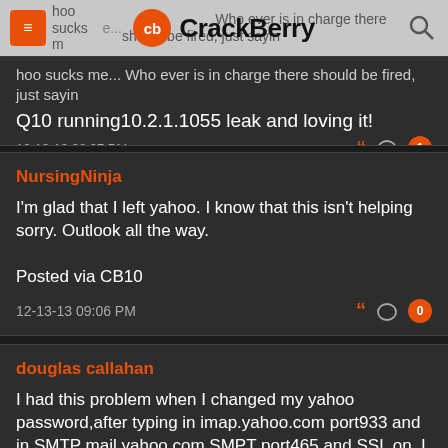CrackBerry
hoo sucks me... Who ever is in charge there should be fired, just sayin
Q10 running10.2.1.1055 leak and loving it!
12-13-13 08:37 PM
NursingNinja
I'm glad that I left yahoo. I know that this isn't helping sorry. Outlook all the way.

Posted via CB10
12-13-13 09:06 PM
douglas callahan
I had this problem when I changed my yahoo password,after typing in imap.yahoo.com port933 and in SMTP mail.yahoo.com SMPT port465 and SSL on. I tryed many times and it